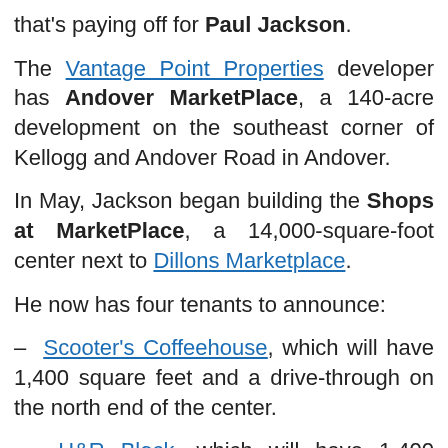that's paying off for Paul Jackson.
The Vantage Point Properties developer has Andover MarketPlace, a 140-acre development on the southeast corner of Kellogg and Andover Road in Andover.
In May, Jackson began building the Shops at MarketPlace, a 14,000-square-foot center next to Dillons Marketplace.
He now has four tenants to announce:
– Scooter's Coffeehouse, which will have 1,400 square feet and a drive-through on the north end of the center.
– H&R Block, which will have 1,400 square